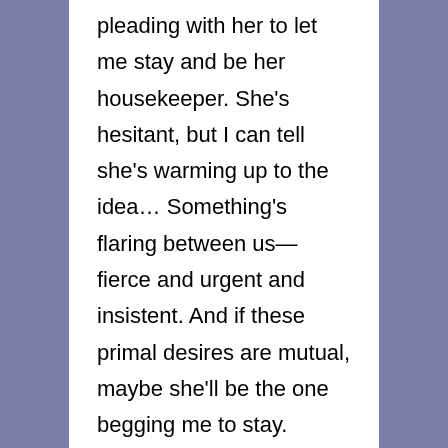pleading with her to let me stay and be her housekeeper. She's hesitant, but I can tell she's warming up to the idea… Something's flaring between us—fierce and urgent and insistent. And if these primal desires are mutual, maybe she'll be the one begging me to stay.